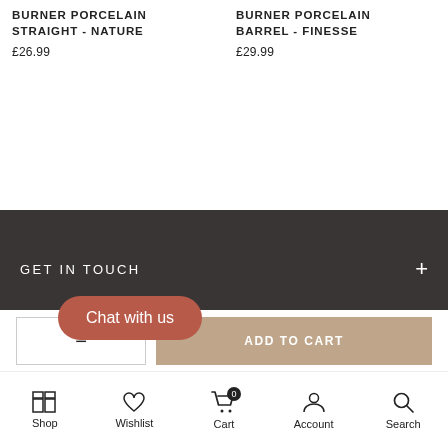BURNER PORCELAIN STRAIGHT - NATURE
£26.99
BURNER PORCELAIN BARREL - FINESSE
£29.99
GET IN TOUCH
CATEGORIES
ADD TO CART
Chat with us
Shop  Wishlist  Cart  Account  Search